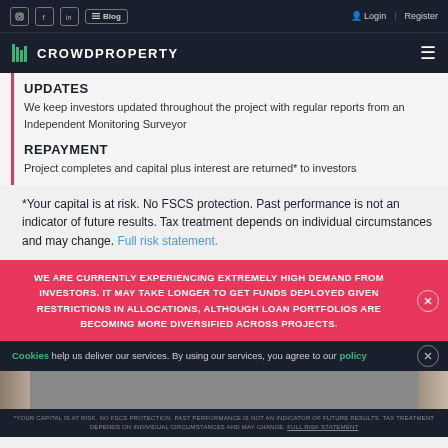Blog | Login | Register
[Figure (logo): CrowdProperty logo on dark navy background with hamburger menu icon]
UPDATES
We keep investors updated throughout the project with regular reports from an Independent Monitoring Surveyor
REPAYMENT
Project completes and capital plus interest are returned* to investors
*Your capital is at risk. No FSCS protection. Past performance is not an indicator of future results. Tax treatment depends on individual circumstances and may change. Full risk statement.
WE ARE CURRENTLY EXPERIENCING EXTREMELY HIGH DEMAND FROM INVESTORS. IT MAY TAKE LONGER TO GET FUNDS DEPLOYED GIVEN RESTRICTIONS IN ALLOCATIONS, ALTHOUGH LOAN PORTFOLIOS ARE BECOMING MORE DIVERSIFIED ACROSS PROJECTS.
Cookies help us deliver our services. By using our services, you agree to our policy
*YOUR CAPITAL IS AT RISK. NO FSCS PROTECTION. PAST PERFORMANCE IS NOT AN INDICATOR OF FUTURE RESULTS. TAX TREATMENT DEPENDS ON INDIVIDUAL CIRCUMSTANCES AND MAY CHANGE. FULL RISK STATEMENT